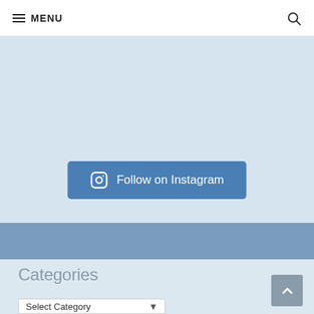MENU
[Figure (screenshot): Instagram follow section with light blue background and a 'Follow on Instagram' button with Instagram icon]
Follow on Instagram
Categories
Select Category